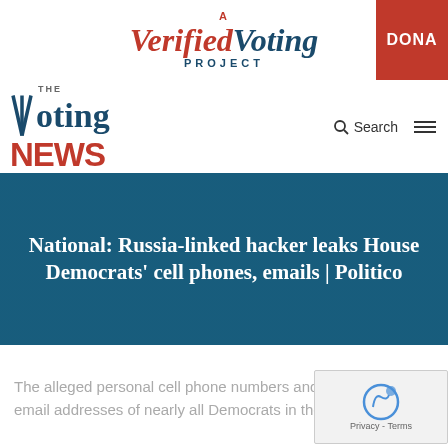A Verified Voting Project | DONATE
THE Voting NEWS | Search
National: Russia-linked hacker leaks House Democrats' cell phones, emails | Politico
The alleged personal cell phone numbers and email addresses of nearly all Democrats in the